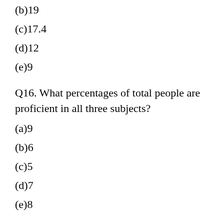(b)19
(c)17.4
(d)12
(e)9
Q16. What percentages of total people are proficient in all three subjects?
(a)9
(b)6
(c)5
(d)7
(e)8
The figure on the left represents number of distributors for a Company and the figure on the right depicts